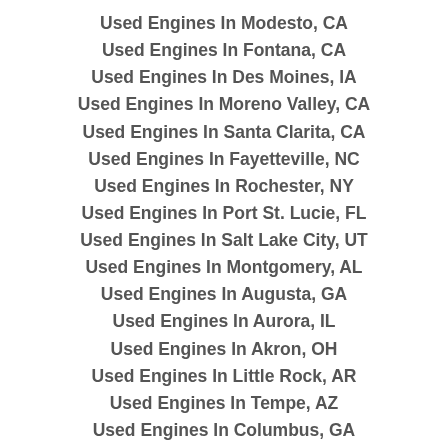Used Engines In Modesto, CA
Used Engines In Fontana, CA
Used Engines In Des Moines, IA
Used Engines In Moreno Valley, CA
Used Engines In Santa Clarita, CA
Used Engines In Fayetteville, NC
Used Engines In Rochester, NY
Used Engines In Port St. Lucie, FL
Used Engines In Salt Lake City, UT
Used Engines In Montgomery, AL
Used Engines In Augusta, GA
Used Engines In Aurora, IL
Used Engines In Akron, OH
Used Engines In Little Rock, AR
Used Engines In Tempe, AZ
Used Engines In Columbus, GA